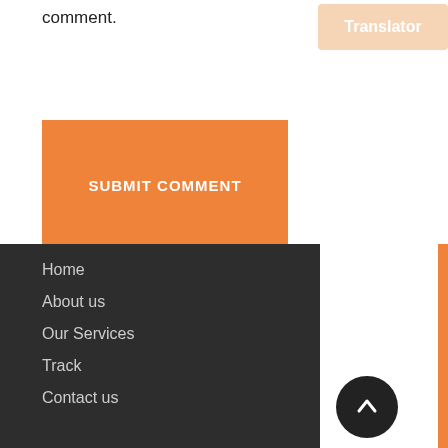comment.
Translator
SUBMIT COMMENT
Home
About us
Our Services
Track
Contact us